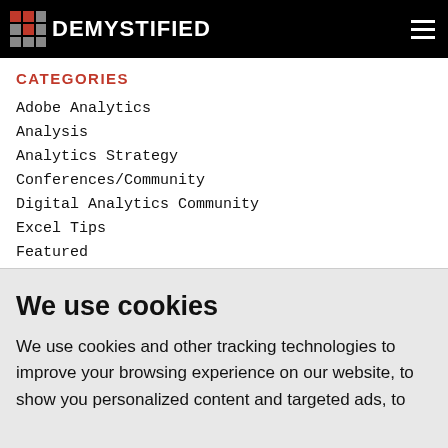DEMYSTIFIED
CATEGORIES
Adobe Analytics
Analysis
Analytics Strategy
Conferences/Community
Digital Analytics Community
Excel Tips
Featured
We use cookies
We use cookies and other tracking technologies to improve your browsing experience on our website, to show you personalized content and targeted ads, to